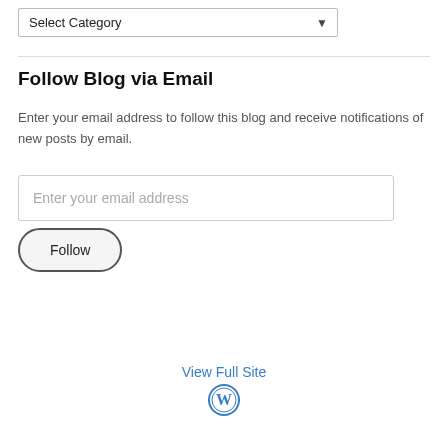[Figure (other): Select Category dropdown widget]
Follow Blog via Email
Enter your email address to follow this blog and receive notifications of new posts by email.
[Figure (other): Email address input field with placeholder 'Enter your email address']
[Figure (other): Follow button with rounded pill border]
View Full Site
[Figure (logo): WordPress logo icon]